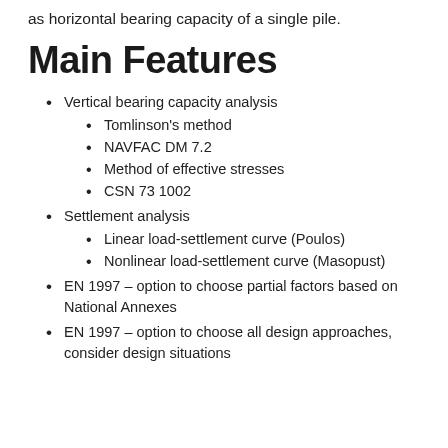as horizontal bearing capacity of a single pile.
Main Features
Vertical bearing capacity analysis
Tomlinson's method
NAVFAC DM 7.2
Method of effective stresses
CSN 73 1002
Settlement analysis
Linear load-settlement curve (Poulos)
Nonlinear load-settlement curve (Masopust)
EN 1997 – option to choose partial factors based on National Annexes
EN 1997 – option to choose all design approaches, consider design situations